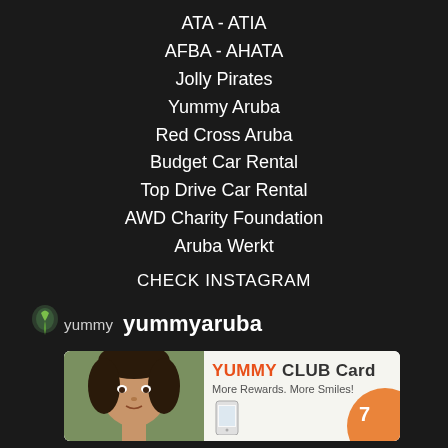ATA - ATIA
AFBA - AHATA
Jolly Pirates
Yummy Aruba
Red Cross Aruba
Budget Car Rental
Top Drive Car Rental
AWD Charity Foundation
Aruba Werkt
CHECK INSTAGRAM
[Figure (logo): Yummy Aruba brand logo with leaf icon and text 'yummy yummyaruba']
[Figure (photo): Advertisement for YUMMY CLUB Card showing a woman's face and a phone with text: YUMMY CLUB Card, More Rewards. More Smiles!]